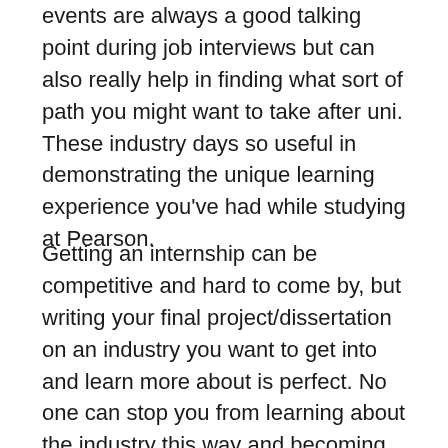events are always a good talking point during job interviews but can also really help in finding what sort of path you might want to take after uni. These industry days so useful in demonstrating the unique learning experience you've had while studying at Pearson.
Getting an internship can be competitive and hard to come by, but writing your final project/dissertation on an industry you want to get into and learn more about is perfect. No one can stop you from learning about the industry this way and becoming an expert before you have any 'experience'. This can also be something to have in your locker during